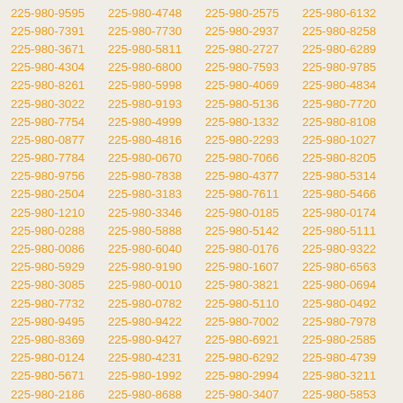225-980-9595 225-980-4748 225-980-2575 225-980-6132 225-980-7391 225-980-7730 225-980-2937 225-980-8258 225-980-3671 225-980-5811 225-980-2727 225-980-6289 225-980-4304 225-980-6800 225-980-7593 225-980-9785 225-980-8261 225-980-5998 225-980-4069 225-980-4834 225-980-3022 225-980-9193 225-980-5136 225-980-7720 225-980-7754 225-980-4999 225-980-1332 225-980-8108 225-980-0877 225-980-4816 225-980-2293 225-980-1027 225-980-7784 225-980-0670 225-980-7066 225-980-8205 225-980-9756 225-980-7838 225-980-4377 225-980-5314 225-980-2504 225-980-3183 225-980-7611 225-980-5466 225-980-1210 225-980-3346 225-980-0185 225-980-0174 225-980-0288 225-980-5888 225-980-5142 225-980-5111 225-980-0086 225-980-6040 225-980-0176 225-980-9322 225-980-5929 225-980-9190 225-980-1607 225-980-6563 225-980-3085 225-980-0010 225-980-3821 225-980-0694 225-980-7732 225-980-0782 225-980-5110 225-980-0492 225-980-9495 225-980-9422 225-980-7002 225-980-7978 225-980-8369 225-980-9427 225-980-6921 225-980-2585 225-980-0124 225-980-4231 225-980-6292 225-980-4739 225-980-5671 225-980-1992 225-980-2994 225-980-3211 225-980-2186 225-980-8688 225-980-3407 225-980-5853 225-980-3668 225-980-7292 225-980-5392 225-980-4227 225-980-3205 225-980-3496 225-980-5547 225-980-2974 225-980-9147 225-980-3707 225-980-9166 225-980-9033 225-980-0339 225-980-9763 225-980-4239 225-980-2560 225-980-7788 225-980-3231 225-980-8157 225-980-4171 225-980-6387 225-980-8363 225-980-9607 225-980-3897 225-980-6623 225-980-5385 225-980-0952 225-980-0784 225-980-0056 225-980-9376 225-980-2151 225-980-0404